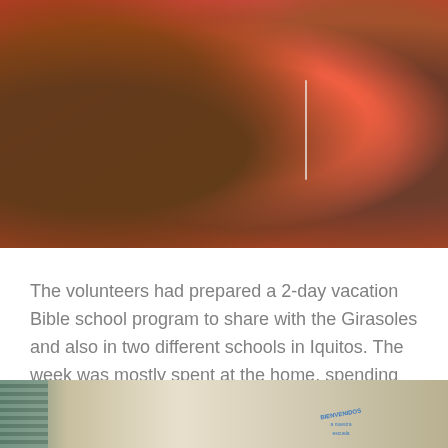[Figure (photo): Close-up photo of children wearing red shirts, one child has white earphone wires visible]
The volunteers had prepared a 2-day vacation Bible school program to share with the Girasoles and also in two different schools in Iquitos. The week was mostly spent at the home, spending time with the boys and spending 2 mornings visiting 2 different schools in the city. They were able to share their program with a first, third, fifth and sixth grade classes.
[Figure (photo): Partial photo of a school interior with window blinds on the left and a circular school logo/text visible in the center-right]